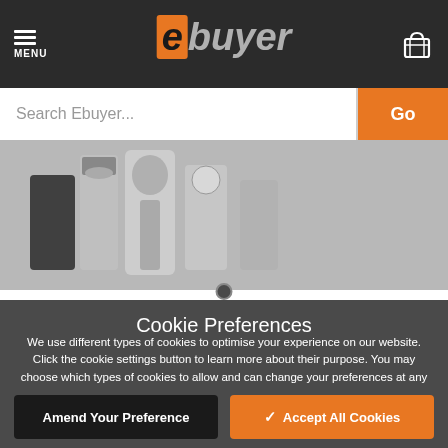MENU | ebuyer
Search Ebuyer...
[Figure (photo): Product images showing electronic accessories/tools on grey background]
Cookie Preferences
We use different types of cookies to optimise your experience on our website. Click the cookie settings button to learn more about their purpose. You may choose which types of cookies to allow and can change your preferences at any time. Remember that disabling cookies may affect your experience on the website. You can learn about how we use cookies by viewing our Cookie Policy.
Amend Your Preference
✓ Accept All Cookies